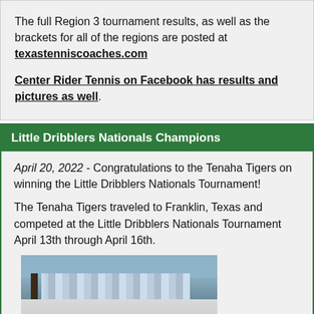The full Region 3 tournament results, as well as the brackets for all of the regions are posted at texastenniscoaches.com
Center Rider Tennis on Facebook has results and pictures as well.
Little Dribblers Nationals Champions
April 20, 2022 - Congratulations to the Tenaha Tigers on winning the Little Dribblers Nationals Tournament!
The Tenaha Tigers traveled to Franklin, Texas and competed at the Little Dribblers Nationals Tournament April 13th through April 16th.
[Figure (photo): Team photo of the Tenaha Tigers basketball team in a gymnasium, players in white uniforms holding trophies/awards, with bleachers visible in the background.]